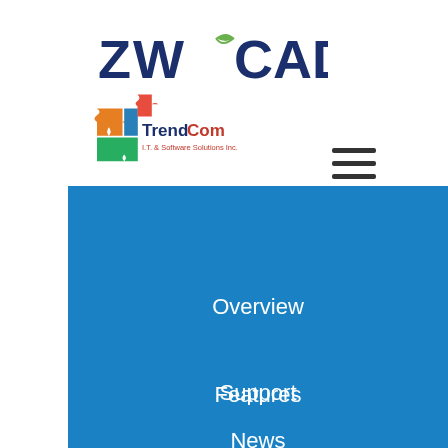[Figure (logo): ZWCAD logo in dark blue bold text with a green leaf accent on the W]
[Figure (logo): TrendCom I.T. & Software Solutions Inc. logo with colorful puzzle piece icon]
[Figure (other): Hamburger menu icon with three horizontal lines]
Overview
Features
What's New
Support
News